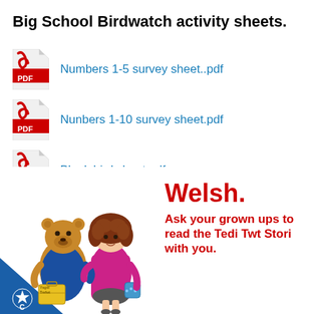Big School Birdwatch activity sheets.
Numbers 1-5 survey sheet..pdf
Nunbers 1-10 survey sheet.pdf
Blank bird sheet.pdf
[Figure (illustration): Two cartoon characters: a bear in a blue coat holding a yellow briefcase with 'Ysgol Trefwt' label, and a girl with curly brown hair in a pink coat holding a blue bag. A blue triangle with a white star badge in the bottom left corner.]
Welsh. Ask your grown ups to read the Tedi Twt Stori with you.